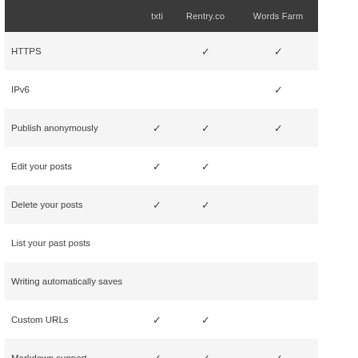|  | txti | Rentry.co | Words Farm |
| --- | --- | --- | --- |
| HTTPS |  | ✓ | ✓ |
| IPv6 |  |  | ✓ |
| Publish anonymously | ✓ | ✓ | ✓ |
| Edit your posts | ✓ | ✓ |  |
| Delete your posts | ✓ | ✓ |  |
| List your past posts |  |  |  |
| Writing automatically saves |  |  |  |
| Custom URLs | ✓ | ✓ |  |
| Markdown support | ✓ | ✓ | ✓ |
| Find others' posts |  |  | ✓ |